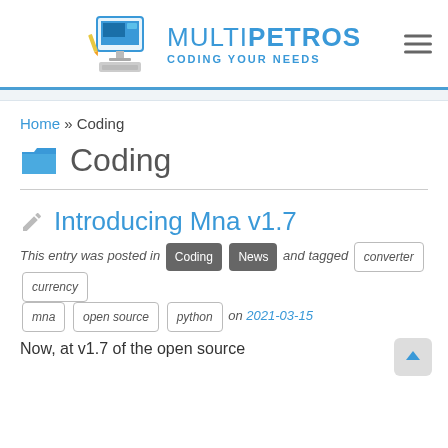MULTIPETROS CODING YOUR NEEDS
Home » Coding
Coding
Introducing Mna v1.7
This entry was posted in Coding News and tagged converter currency mna open source python on 2021-03-15
Now, at v1.7 of the open source